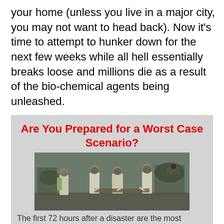your home (unless you live in a major city, you may not want to head back). Now it's time to attempt to hunker down for the next few weeks while all hell essentially breaks loose and millions die as a result of the bio-chemical agents being unleashed.
Are You Prepared for a Worst Case Scenario?
[Figure (photo): Group of people in white hazmat suits and gas masks walking outdoors, appearing to carry something]
The first 72 hours after a disaster are the most